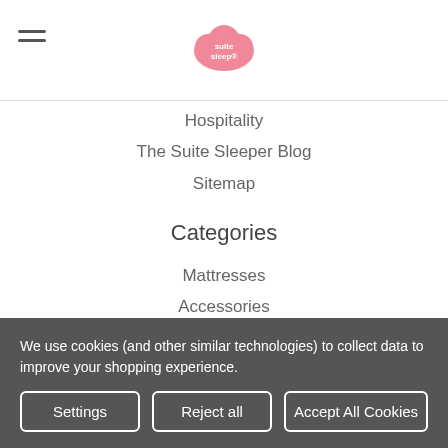[Figure (logo): Suite Sleep logo — pink cloud shape with 'suite sleep' text in white]
Hospitality
The Suite Sleeper Blog
Sitemap
Categories
Mattresses
Accessories
Pillows
Little Lamb Kids Collection
CLEARANCE
We use cookies (and other similar technologies) to collect data to improve your shopping experience.
Settings | Reject all | Accept All Cookies